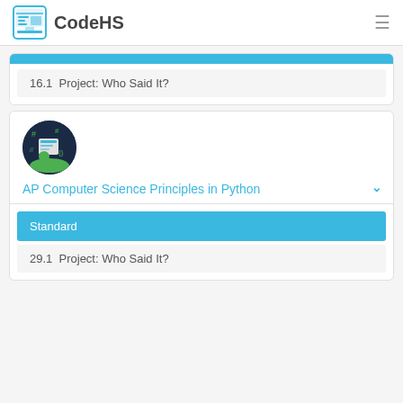CodeHS
16.1  Project: Who Said It?
[Figure (illustration): Circular course icon with dark blue/green background showing coding-related graphics and green elements]
AP Computer Science Principles in Python
Standard
29.1  Project: Who Said It?